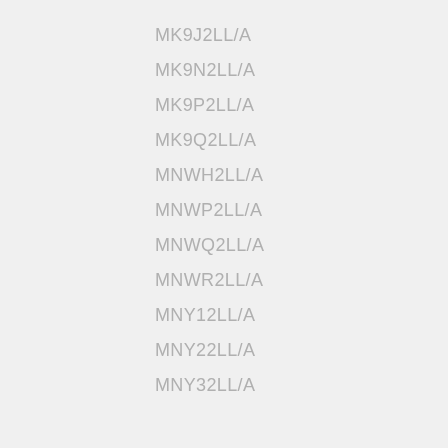MK9J2LL/A
MK9N2LL/A
MK9P2LL/A
MK9Q2LL/A
MNWH2LL/A
MNWP2LL/A
MNWQ2LL/A
MNWR2LL/A
MNY12LL/A
MNY22LL/A
MNY32LL/A